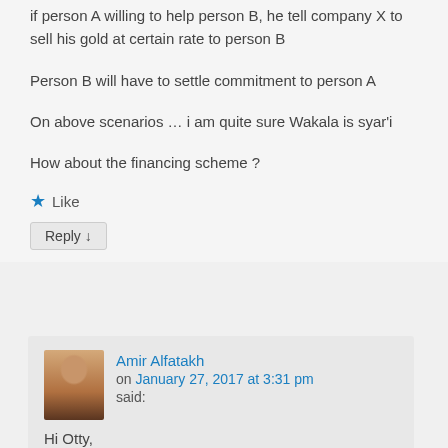if person A willing to help person B, he tell company X to sell his gold at certain rate to person B
Person B will have to settle commitment to person A
On above scenarios … i am quite sure Wakala is syar'i
How about the financing scheme ?
★ Like
Reply ↓
Amir Alfatakh on January 27, 2017 at 3:31 pm said:
Hi Otty,